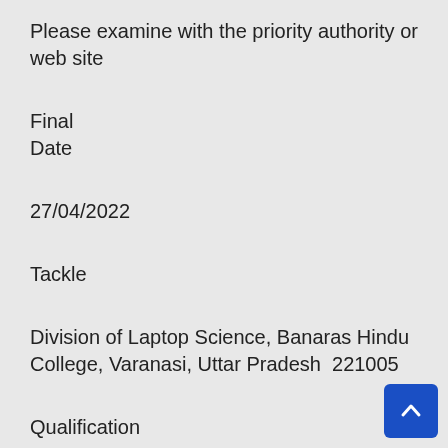Please examine with the priority authority or web site
Final
Date
27/04/2022
Tackle
Division of Laptop Science, Banaras Hindu College, Varanasi, Uttar Pradesh  221005
Qualification
Bachelors diploma or equal in any stream
Pay
Scale